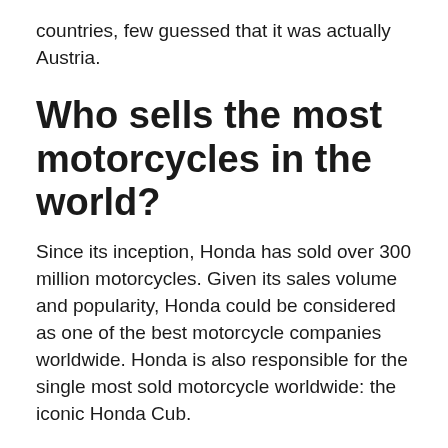countries, few guessed that it was actually Austria.
Who sells the most motorcycles in the world?
Since its inception, Honda has sold over 300 million motorcycles. Given its sales volume and popularity, Honda could be considered as one of the best motorcycle companies worldwide. Honda is also responsible for the single most sold motorcycle worldwide: the iconic Honda Cub.
Who are the big 4 in motorcycles?
The four Japanese manufacturers: Honda